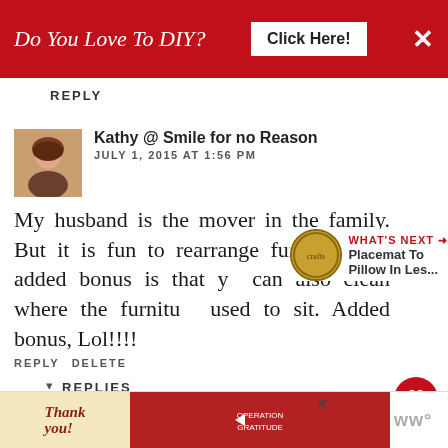[Figure (screenshot): Red advertisement banner: 'Do You Love To DIY? Click Here!' with X close button]
REPLY
[Figure (photo): Avatar photo of Kathy, a woman with short hair]
Kathy @ Smile for no Reason
JULY 1, 2015 AT 1:56 PM
My husband is the mover in the family. But it is fun to rearrange furniture. An added bonus is that you can also clean where the furniture used to sit. Added bonus, Lol!!!!
REPLY DELETE
WHAT'S NEXT → Placemat To Pillow In Les...
REPLIES
[Figure (screenshot): Operation Gratitude advertisement banner at bottom]